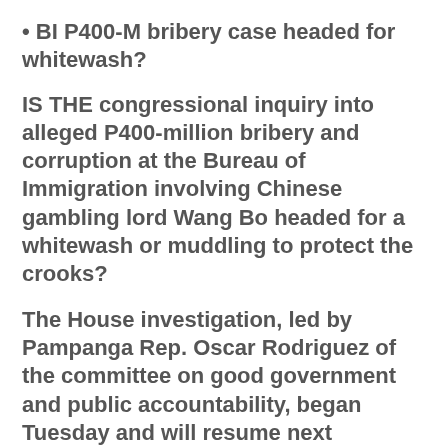• BI P400-M bribery case headed for whitewash?
IS THE congressional inquiry into alleged P400-million bribery and corruption at the Bureau of Immigration involving Chinese gambling lord Wang Bo headed for a whitewash or muddling to protect the crooks?
The House investigation, led by Pampanga Rep. Oscar Rodriguez of the committee on good government and public accountability, began Tuesday and will resume next Tuesday. Meanwhile, Wang is